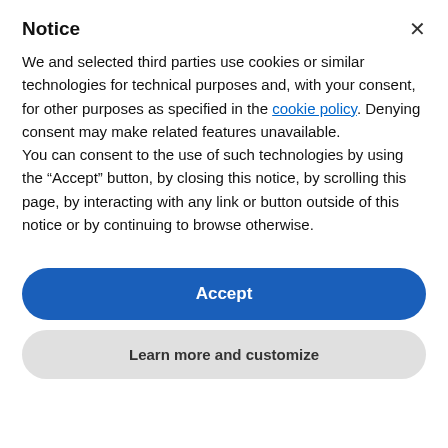Notice
We and selected third parties use cookies or similar technologies for technical purposes and, with your consent, for other purposes as specified in the cookie policy. Denying consent may make related features unavailable.
You can consent to the use of such technologies by using the “Accept” button, by closing this notice, by scrolling this page, by interacting with any link or button outside of this notice or by continuing to browse otherwise.
Accept
Learn more and customize
government, and methods that don’t work so well.
You will improve your knowledge of Whitehall which will enable you to build better relationships with civil servants and public servants, and improve your understanding of current public sector clients. We